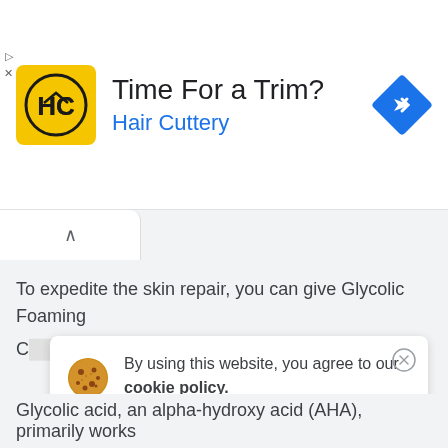[Figure (screenshot): Hair Cuttery advertisement banner with yellow square logo showing HC initials, text 'Time For a Trim?' and 'Hair Cuttery' in blue, and a blue diamond-shaped navigation icon on the right]
[Figure (screenshot): Browser tab area showing a white rounded tab with up chevron arrow, against grey background]
To expedite the skin repair, you can give Glycolic Foaming C...
By using this website, you agree to our cookie policy.
Glycolic acid, an alpha-hydroxy acid (AHA), primarily works